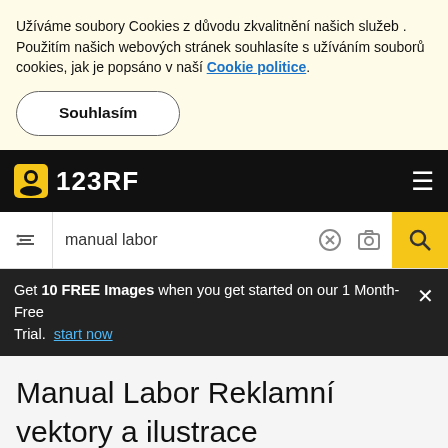Užíváme soubory Cookies z důvodu zkvalitnění našich služeb . Použitím našich webových stránek souhlasíte s užíváním souborů cookies, jak je popsáno v naší Cookie politice.
Souhlasím
123RF
manual labor
Get 10 FREE Images when you get started on our 1 Month-Free Trial. start now
Manual Labor Reklamní vektory a ilustrace